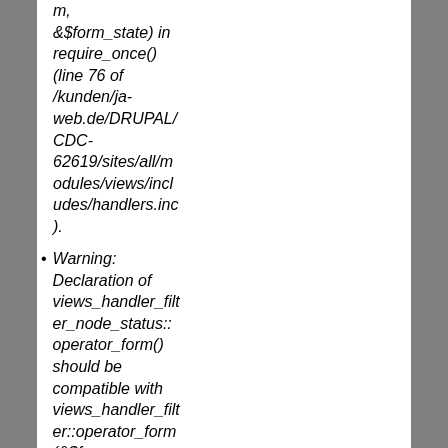m, &$form_state) in require_once() (line 76 of /kunden/ja-web.de/DRUPAL/CDC-62619/sites/all/modules/views/includes/handlers.inc).
Warning: Declaration of views_handler_filter_node_status::operator_form() should be compatible with views_handler_filter::operator_form(&$form, &$form_state) in require_once() (line 76 of /kunden/ja-web.de/DRUPAL/